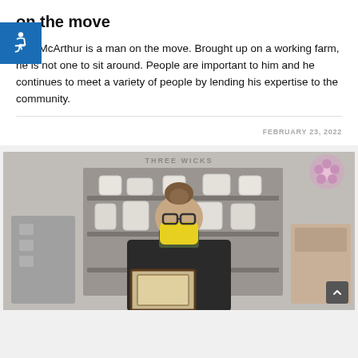on the move
Rod McArthur is a man on the move. Brought up on a working farm, he is not one to sit around. People are important to him and he continues to meet a variety of people by lending his expertise to the community.
FEBRUARY 23, 2022
[Figure (photo): A woman wearing glasses and a yellow face mask standing behind a counter in what appears to be a candle shop called Three Wicks. Shelves with candle jars are visible in the background. She appears to be holding a framed item.]